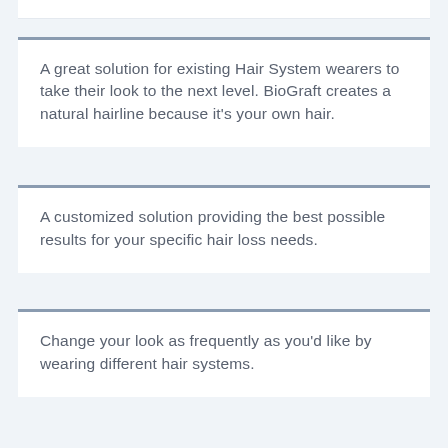A great solution for existing Hair System wearers to take their look to the next level. BioGraft creates a natural hairline because it's your own hair.
A customized solution providing the best possible results for your specific hair loss needs.
Change your look as frequently as you'd like by wearing different hair systems.